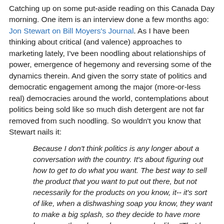Catching up on some put-aside reading on this Canada Day morning. One item is an interview done a few months ago: Jon Stewart on Bill Moyers's Journal. As I have been thinking about critical (and valence) approaches to marketing lately, I've been noodling about relationships of power, emergence of hegemony and reversing some of the dynamics therein. And given the sorry state of politics and democratic engagement among the major (more-or-less real) democracies around the world, contemplations about politics being sold like so much dish detergent are not far removed from such noodling. So wouldn't you know that Stewart nails it:
Because I don't think politics is any longer about a conversation with the country. It's about figuring out how to get to do what you want. The best way to sell the product that you want to put out there, but not necessarily for the products on you know, it-- it's sort of like, when a dishwashing soap you know, they want to make a big splash, so they decide to have more lemon, as though people are gonna be like, "That has been the problem with my dishes! Not enough lemon.